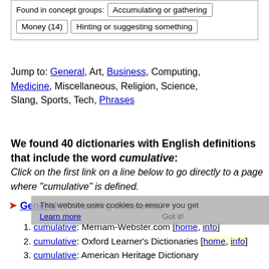Found in concept groups: Accumulating or gathering | Money (14) | Hinting or suggesting something
Jump to: General, Art, Business, Computing, Medicine, Miscellaneous, Religion, Science, Slang, Sports, Tech, Phrases
We found 40 dictionaries with English definitions that include the word cumulative:
Click on the first link on a line below to go directly to a page where "cumulative" is defined.
This website uses cookies to ensure you get
General (30 matching dictionaries)
Learn more
cumulative: Merriam-Webster.com [home, info]
cumulative: Oxford Learner's Dictionaries [home, info]
cumulative: American Heritage Dictionary